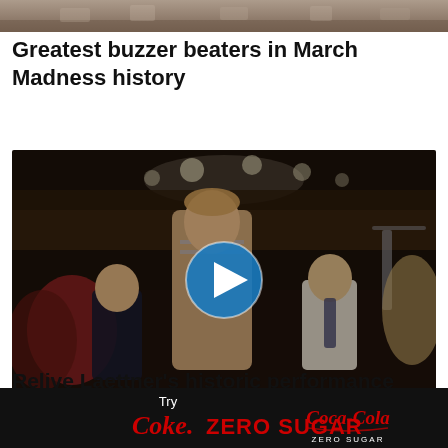[Figure (photo): Top partial image of basketball crowd scene, cropped at top of page]
Greatest buzzer beaters in March Madness history
[Figure (photo): Basketball player Christian Laettner celebrating on court surrounded by crowd in arena, with blue circular play button overlay indicating video content]
Relive Laettner's historic performance against Kentucky
[Figure (infographic): Black advertisement bar: Try Coke Zero Sugar with Coca-Cola Zero Sugar logo]